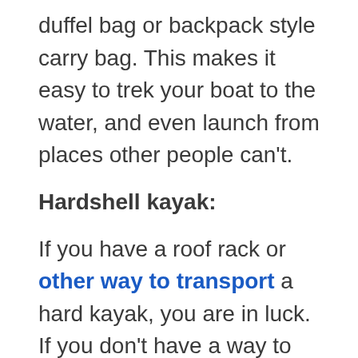duffel bag or backpack style carry bag. This makes it easy to trek your boat to the water, and even launch from places other people can't.
Hardshell kayak:
If you have a roof rack or other way to transport a hard kayak, you are in luck. If you don't have a way to transport the kayak, then that is an added expense for you.  There are inexpensive roof racks available, or you can spend a lot of money on a rack.